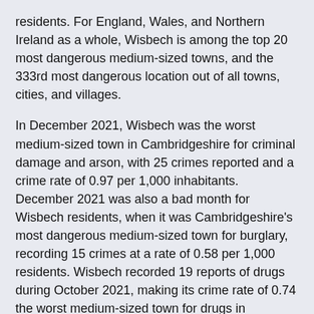residents. For England, Wales, and Northern Ireland as a whole, Wisbech is among the top 20 most dangerous medium-sized towns, and the 333rd most dangerous location out of all towns, cities, and villages.
In December 2021, Wisbech was the worst medium-sized town in Cambridgeshire for criminal damage and arson, with 25 crimes reported and a crime rate of 0.97 per 1,000 inhabitants. December 2021 was also a bad month for Wisbech residents, when it was Cambridgeshire's most dangerous medium-sized town for burglary, recording 15 crimes at a rate of 0.58 per 1,000 residents. Wisbech recorded 19 reports of drugs during October 2021, making its crime rate of 0.74 the worst medium-sized town for drugs in Cambridgeshire that month.
The most common crimes in Wisbech are violence and sexual offences, with 1,346 offences during 2021 giving a rate of 52. This is 12% higher than 2020's figure of [obscured] difference of 6.45 from 2020's crime rate of 46. Wisbech's least